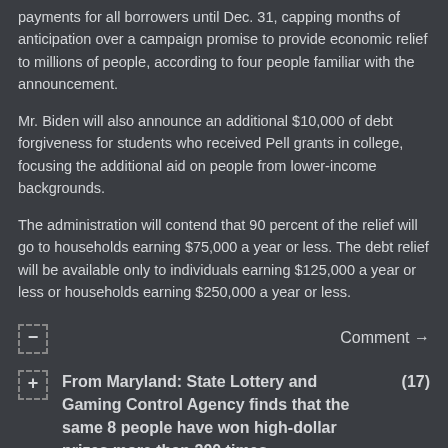payments for all borrowers until Dec. 31, capping months of anticipation over a campaign promise to provide economic relief to millions of people, according to four people familiar with the announcement.
Mr. Biden will also announce an additional $10,000 of debt forgiveness for students who received Pell grants in college, focusing the additional aid on people from lower-income backgrounds.
The administration will contend that 90 percent of the relief will go to households earning $75,000 a year or less. The debt relief will be available only to individuals earning $125,000 a year or less or households earning $250,000 a year or less.
Comment →
From Maryland: State Lottery and Gaming Control Agency finds that the same 8 people have won high-dollar prizes more than 200 times (17)